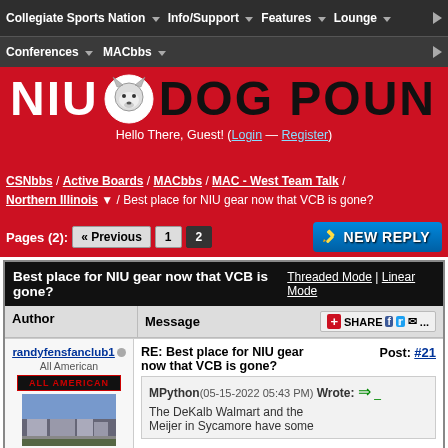Collegiate Sports Nation | Info/Support | Features | Lounge | Conferences | MACbbs
[Figure (logo): NIU Dog Pound banner logo with husky mascot icon on red background]
Hello There, Guest! (Login — Register)
CSNbbs / Active Boards / MACbbs / MAC - West Team Talk / Northern Illinois / Best place for NIU gear now that VCB is gone?
Pages (2): « Previous  1  2
NEW REPLY
| Best place for NIU gear now that VCB is gone? | Threaded Mode | Linear Mode |
| --- | --- |
| Author | Message | SHARE |
| randyfensfanclub1 (All American) | RE: Best place for NIU gear now that VCB is gone? Post: #21
MPython(05-15-2022 05:43 PM) Wrote: →
The DeKalb Walmart and the Meijer in Sycamore have some |
Post #21 by randyfensfanclub1